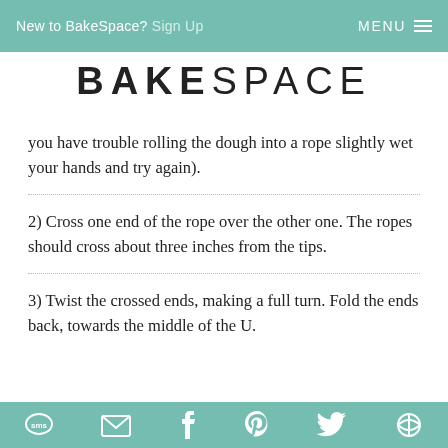New to BakeSpace? Sign Up  MENU
BAKESPACE
you have trouble rolling the dough into a rope slightly wet your hands and try again).
2) Cross one end of the rope over the other one. The ropes should cross about three inches from the tips.
3) Twist the crossed ends, making a full turn. Fold the ends back, towards the middle of the U.
sms  email  facebook  pinterest  twitter  other